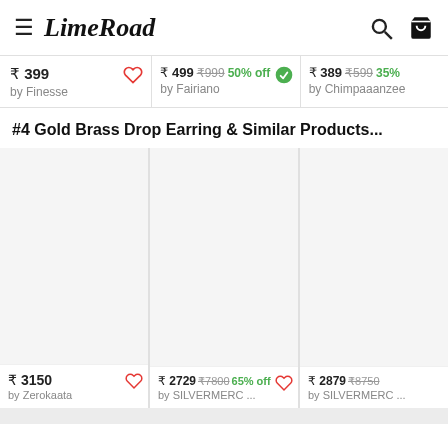LimeRoad
₹ 399 by Finesse
₹ 499 ₹999 50% off by Fairiano
₹ 389 ₹599 35% off by Chimpaaanzee
#4 Gold Brass Drop Earring & Similar Products...
[Figure (photo): Product image placeholder - white/grey box]
₹ 3150 by Zerokaata
[Figure (photo): Product image placeholder - white/grey box]
₹ 2729 ₹7800 65% off by SILVERMERC ...
[Figure (photo): Product image placeholder - white/grey box]
₹ 2879 ₹8750 by SILVERMERC ...